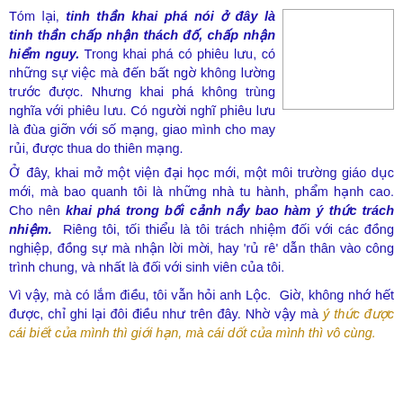Tóm lại, tinh thần khai phá nói ở đây là tinh thần chấp nhận thách đố, chấp nhận hiểm nguy. Trong khai phá có phiêu lưu, có những sự việc mà đến bất ngờ không lường trước được. Nhưng khai phá không trùng nghĩa với phiêu lưu. Có người nghĩ phiêu lưu là đùa giỡn với số mạng, giao mình cho may rủi, được thua do thiên mạng.
[Figure (other): Empty white box with grey border]
Ở đây, khai mở một viện đại học mới, một môi trường giáo dục mới, mà bao quanh tôi là những nhà tu hành, phẩm hạnh cao. Cho nên khai phá trong bối cảnh nầy bao hàm ý thức trách nhiệm. Riêng tôi, tối thiểu là tôi trách nhiệm đối với các đồng nghiệp, đồng sự mà nhận lời mời, hay 'rủ rê' dẫn thân vào công trình chung, và nhất là đối với sinh viên của tôi.
Vì vậy, mà có lắm điều, tôi vẫn hỏi anh Lộc. Giờ, không nhớ hết được, chỉ ghi lại đôi điều như trên đây. Nhờ vậy mà ý thức được cái biết của mình thì giới hạn, mà cái dốt của mình thì vô cùng.